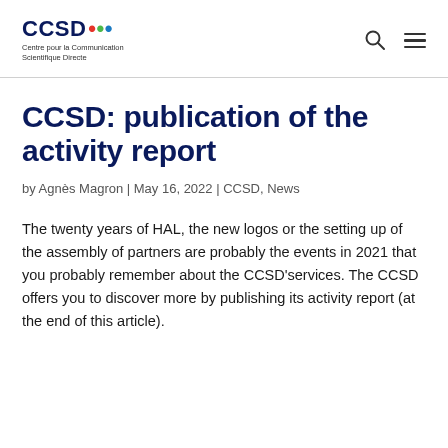CCSD Centre pour la Communication Scientifique Directe
CCSD: publication of the activity report
by Agnès Magron | May 16, 2022 | CCSD, News
The twenty years of HAL, the new logos or the setting up of the assembly of partners are probably the events in 2021 that you probably remember about the CCSD'services. The CCSD offers you to discover more by publishing its activity report (at the end of this article).